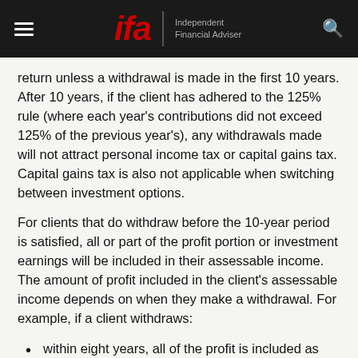ifa | Independent Financial Adviser
return unless a withdrawal is made in the first 10 years. After 10 years, if the client has adhered to the 125% rule (where each year's contributions did not exceed 125% of the previous year's), any withdrawals made will not attract personal income tax or capital gains tax. Capital gains tax is also not applicable when switching between investment options.
For clients that do withdraw before the 10-year period is satisfied, all or part of the profit portion or investment earnings will be included in their assessable income. The amount of profit included in the client's assessable income depends on when they make a withdrawal. For example, if a client withdraws:
within eight years, all of the profit is included as assessable income;
during the ninth year, two-thirds of the profit is